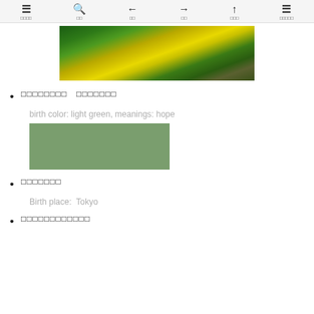Navigation toolbar with menu, search, back, forward, up, and list icons with Japanese labels
[Figure (photo): Nature photo showing yellow flowers and green foliage/bushes outdoors]
□□□□□□□□　□□□□□□□
birth color: light green, meanings: hope
[Figure (other): Solid light green color swatch rectangle]
□□□□□□□
Birth place:  Tokyo
□□□□□□□□□□□□